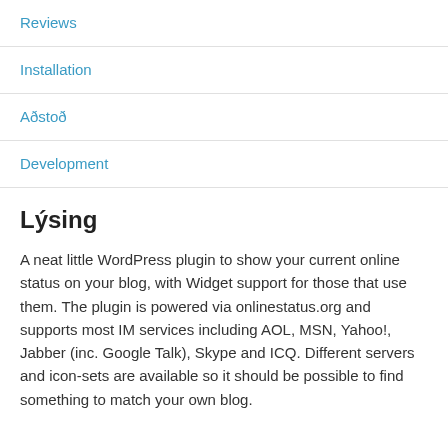Reviews
Installation
Aðstoð
Development
Lýsing
A neat little WordPress plugin to show your current online status on your blog, with Widget support for those that use them. The plugin is powered via onlinestatus.org and supports most IM services including AOL, MSN, Yahoo!, Jabber (inc. Google Talk), Skype and ICQ. Different servers and icon-sets are available so it should be possible to find something to match your own blog.